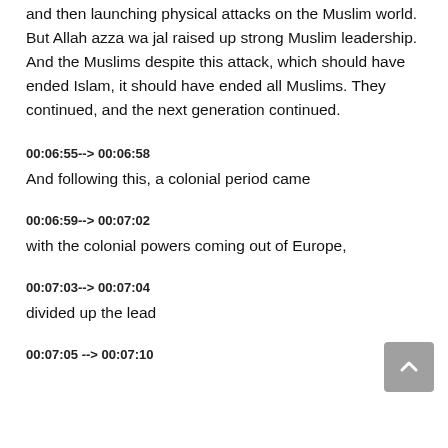and then launching physical attacks on the Muslim world. But Allah azza wa jal raised up strong Muslim leadership. And the Muslims despite this attack, which should have ended Islam, it should have ended all Muslims. They continued, and the next generation continued.
00:06:55--> 00:06:58
And following this, a colonial period came
00:06:59--> 00:07:02
with the colonial powers coming out of Europe,
00:07:03--> 00:07:04
divided up the lead
00:07:05 --> 00:07:10